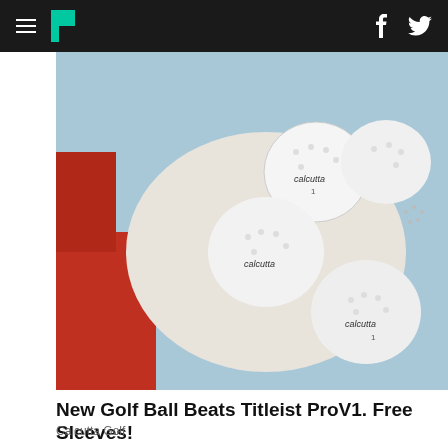HuffPost navigation bar with hamburger menu, logo, Facebook and Twitter icons
[Figure (photo): A golfer's white-gloved hand holding multiple Calcutta golf balls against a blue sky background, with a red shirt visible at left.]
New Golf Ball Beats Titleist ProV1. Free Sleeves!
Calcutta Golf
[Figure (photo): Multiple medical/scientific vials or ampoules with metallic caps arranged diagonally on a blue background, with light refracting effects.]